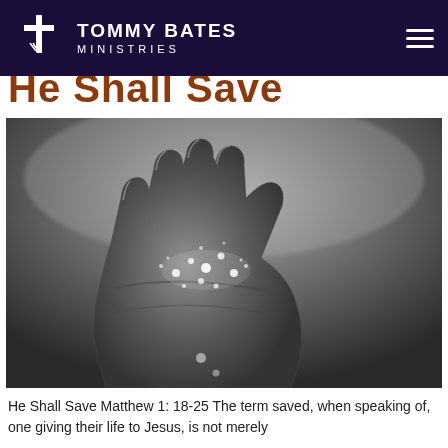TOMMY BATES MINISTRIES
He Shall Save
[Figure (photo): Black and white photograph of an open hand reaching upward with water droplets splashing on the palm, against a misty background.]
He Shall Save Matthew 1: 18-25 The term saved, when speaking of, one giving their life to Jesus, is not merely